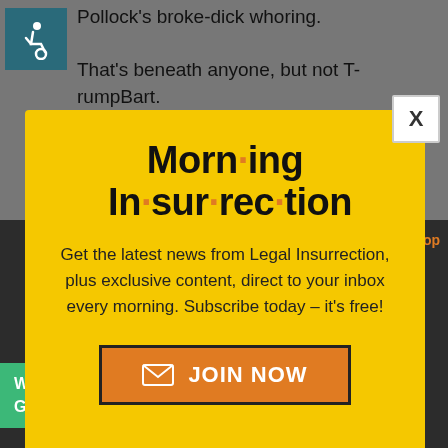[Figure (illustration): Wheelchair accessibility icon in teal square]
Pollock's broke-dick whoring.

That's beneath anyone, but not TrumpBart.
[Figure (screenshot): Morning Insurrection modal popup with yellow background. Title reads 'Morn·ing In·sur·rec·tion' with orange dots. Body text: 'Get the latest news from Legal Insurrection, plus exclusive content, direct to your inbox every morning. Subscribe today – it's free!' with an orange JOIN NOW button. X close button in top right.]
would like to... ranted about thought about grabbing women by
[Figure (screenshot): Green Fiverr advertisement banner: 'Working from home? Get your projects done on fiverr']